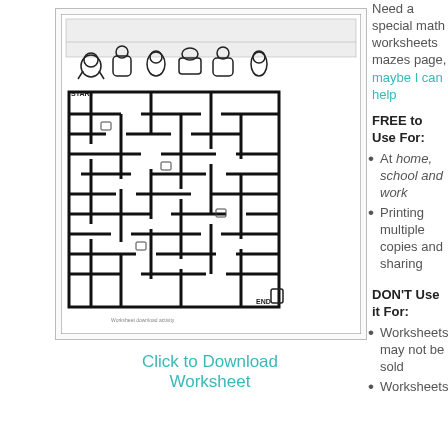[Figure (illustration): A math worksheet maze with cartoon characters at the top and a black-and-white maze pattern below, labeled START and END]
Click to Download Worksheet
Need a special math worksheets mazes page, maybe I can help
FREE to Use For:
At home, school and work
Printing multiple copies and sharing
DON'T Use it For:
Worksheets may not be sold
Worksheets